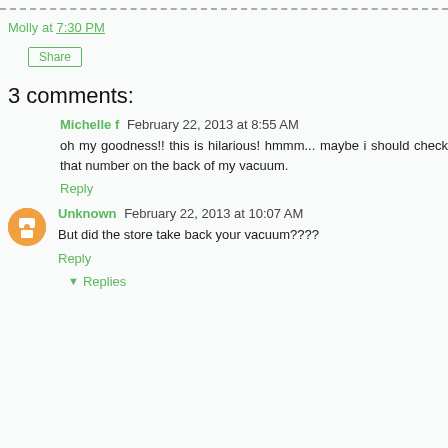---dashed line---
Molly at 7:30 PM
Share
3 comments:
Michelle f  February 22, 2013 at 8:55 AM
oh my goodness!! this is hilarious! hmmm... maybe i should check that number on the back of my vacuum.
Reply
Unknown  February 22, 2013 at 10:07 AM
But did the store take back your vacuum????
Reply
Replies